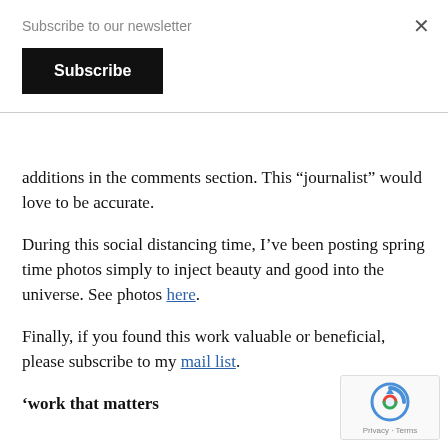Subscribe to our newsletter
Subscribe
additions in the comments section. This “journalist” would love to be accurate.
During this social distancing time, I’ve been posting spring time photos simply to inject beauty and good into the universe. See photos here.
Finally, if you found this work valuable or beneficial, please subscribe to my mail list.
‘work that matters